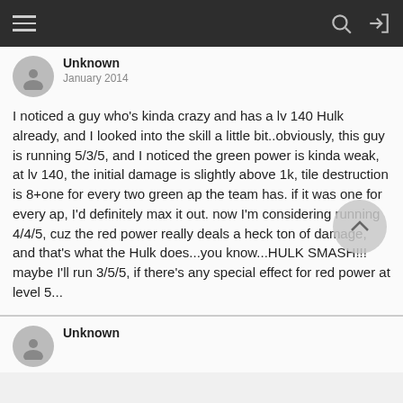Navigation bar with hamburger menu, search, and login icons
Unknown
January 2014
I noticed a guy who's kinda crazy and has a lv 140 Hulk already, and I looked into the skill a little bit..obviously, this guy is running 5/3/5, and I noticed the green power is kinda weak, at lv 140, the initial damage is slightly above 1k, tile destruction is 8+one for every two green ap the team has. if it was one for every ap, I'd definitely max it out. now I'm considering running 4/4/5, cuz the red power really deals a heck ton of damage, and that's what the Hulk does...you know...HULK SMASH!!! maybe I'll run 3/5/5, if there's any special effect for red power at level 5...
Unknown